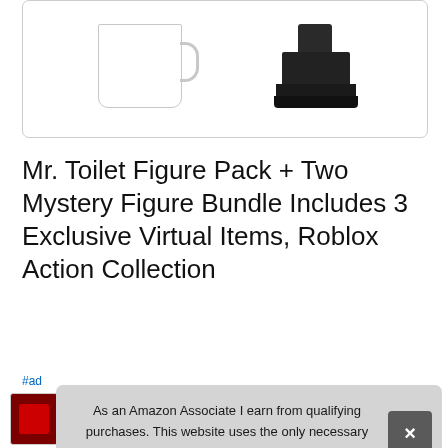[Figure (photo): Product image card showing two Roblox items: a white mug with blue design on the left, and a black stacked figure toy on the right, inside a rounded border card]
Mr. Toilet Figure Pack + Two Mystery Figure Bundle Includes 3 Exclusive Virtual Items, Roblox Action Collection
#ad
[Figure (screenshot): Cookie consent banner overlay: 'As an Amazon Associate I earn from qualifying purchases. This website uses the only necessary cookies to ensure you get the best experience on our website. More information' with an X close button]
[Figure (photo): Row of small product thumbnail images at the bottom of the page]